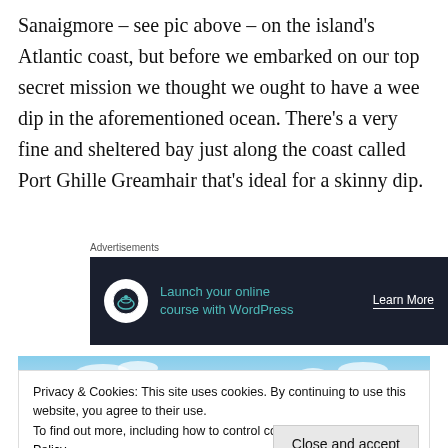Sanaigmore – see pic above – on the island's Atlantic coast, but before we embarked on our top secret mission we thought we ought to have a wee dip in the aforementioned ocean. There's a very fine and sheltered bay just along the coast called Port Ghille Greamhair that's ideal for a skinny dip.
Advertisements
[Figure (other): Dark advertisement banner: 'Launch your online course with WordPress' with Learn More button and icon]
[Figure (photo): Sky with clouds, partial coastal scene]
Privacy & Cookies: This site uses cookies. By continuing to use this website, you agree to their use.
To find out more, including how to control cookies, see here: Cookie Policy
Close and accept